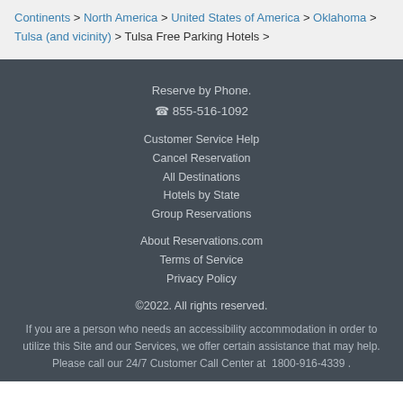Continents > North America > United States of America > Oklahoma > Tulsa (and vicinity) > Tulsa Free Parking Hotels >
Reserve by Phone.
☎ 855-516-1092
Customer Service Help
Cancel Reservation
All Destinations
Hotels by State
Group Reservations
About Reservations.com
Terms of Service
Privacy Policy
©2022. All rights reserved.
If you are a person who needs an accessibility accommodation in order to utilize this Site and our Services, we offer certain assistance that may help. Please call our 24/7 Customer Call Center at  1800-916-4339 .